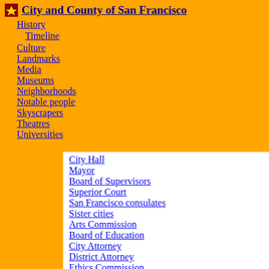City and County of San Francisco
History
Timeline
Culture
Landmarks
Media
Museums
Neighborhoods
Notable people
Skyscrapers
Theatres
Universities
City Hall
Mayor
Board of Supervisors
Superior Court
San Francisco consulates
Sister cities
Arts Commission
Board of Education
City Attorney
District Attorney
Ethics Commission
Fire Department